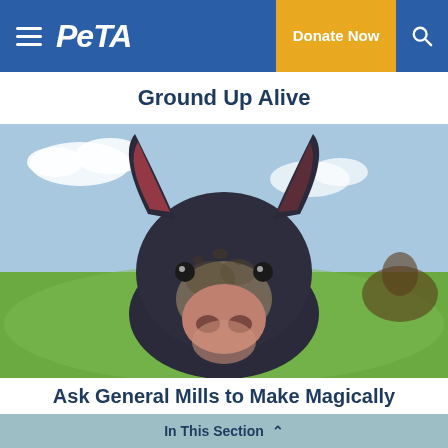PETA — Donate Now
Ground Up Alive
[Figure (photo): Close-up photo of a young black and pink piglet with large ears looking directly at the camera, standing in a green grassy field. Another animal is partially visible in the blurred background.]
Ask General Mills to Make Magically
In This Section